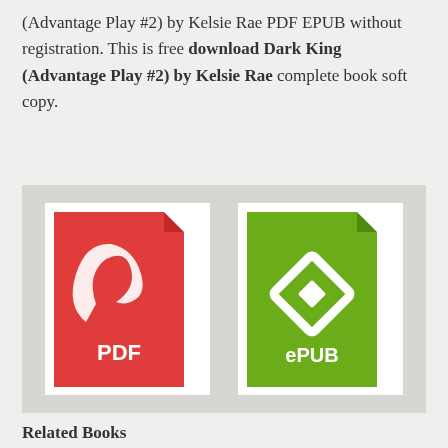(Advantage Play #2) by Kelsie Rae PDF EPUB without registration. This is free download Dark King (Advantage Play #2) by Kelsie Rae complete book soft copy.
[Figure (illustration): Two file format icons side by side on a light gray background. Left: a red PDF document icon with the Adobe Acrobat logo and 'PDF' label. Right: a green ePUB document icon with the ePUB diamond logo and 'ePUB' label.]
Related Books